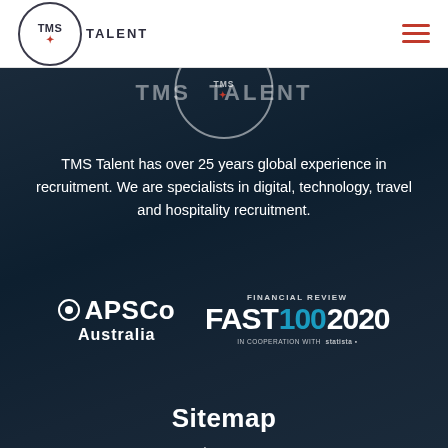[Figure (logo): TMS Talent logo: circle with TMS text and cross symbol, followed by TALENT text in caps]
[Figure (other): Hamburger menu icon with three red horizontal lines]
[Figure (logo): Partial TMS Talent circle logo overlapping the dark hero section with large text TMS TALENT behind it]
TMS Talent has over 25 years global experience in recruitment. We are specialists in digital, technology, travel and hospitality recruitment.
[Figure (logo): APSCo Australia logo in white on dark background]
[Figure (logo): Financial Review FAST 100 2020 logo with statista in cooperation with text]
Sitemap
About Us